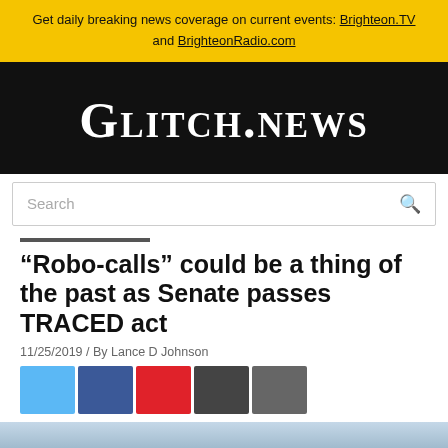Get daily breaking news coverage on current events: Brighteon.TV and BrighteonRadio.com
[Figure (logo): Glitch.News logo in white serif small-caps font on black background]
Search
“Robo-calls” could be a thing of the past as Senate passes TRACED act
11/25/2019 / By Lance D Johnson
[Figure (other): Social sharing buttons: Twitter (light blue), Facebook (dark blue), Pinterest (red), Email (dark gray), Print (gray)]
[Figure (photo): Partial photo at bottom of page, appears to show a person against a light blue background]